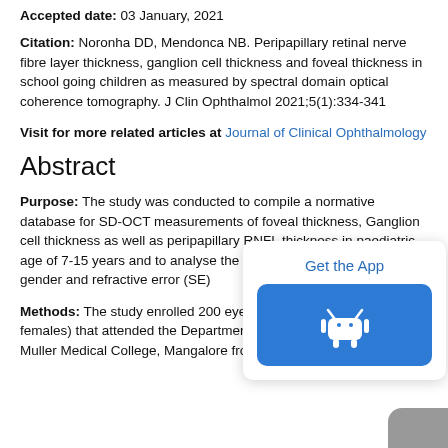Accepted date: 03 January, 2021
Citation: Noronha DD, Mendonca NB. Peripapillary retinal nerve fibre layer thickness, ganglion cell thickness and foveal thickness in school going children as measured by spectral domain optical coherence tomography. J Clin Ophthalmol 2021;5(1):334-341
Visit for more related articles at Journal of Clinical Ophthalmology
Abstract
Purpose: The study was conducted to compile a normative database for SD-OCT measurements of foveal thickness, Ganglion cell thickness as well as peripapillary RNFL thickness in paediatric age of 7-15 years and to analyse the correlation of such with age, gender and refractive error (SE)
Methods: The study enrolled 200 eyes of 100 (47 males and 53 females) that attended the Department of ophthalmology, Father Muller Medical College, Mangalore from September 2016-2017. A